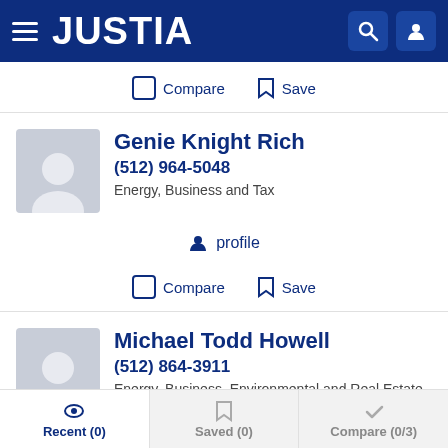JUSTIA
Compare  Save
Genie Knight Rich
(512) 964-5048
Energy, Business and Tax
profile
Compare  Save
Michael Todd Howell
(512) 864-3911
Energy, Business, Environmental and Real Estate
Recent (0)  Saved (0)  Compare (0/3)